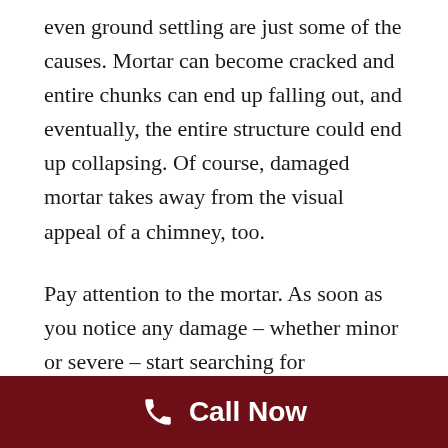even ground settling are just some of the causes. Mortar can become cracked and entire chunks can end up falling out, and eventually, the entire structure could end up collapsing. Of course, damaged mortar takes away from the visual appeal of a chimney, too.
Pay attention to the mortar. As soon as you notice any damage – whether minor or severe – start searching for companies that specialize in brick repair near you. A Garland, TX brick repair professional will address the problem, restoring the safety and the aesthetics of the structure.
Call Now